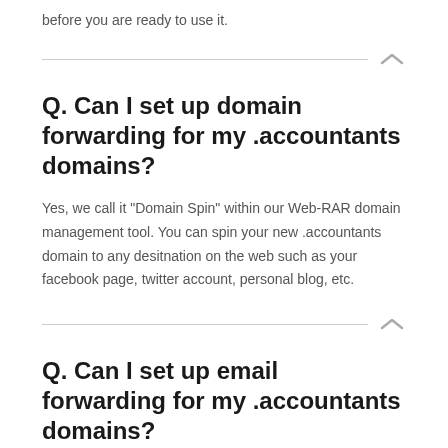before you are ready to use it.
Q. Can I set up domain forwarding for my .accountants domains?
Yes, we call it "Domain Spin" within our Web-RAR domain management tool. You can spin your new .accountants domain to any desitnation on the web such as your facebook page, twitter account, personal blog, etc.
Q. Can I set up email forwarding for my .accountants domains?